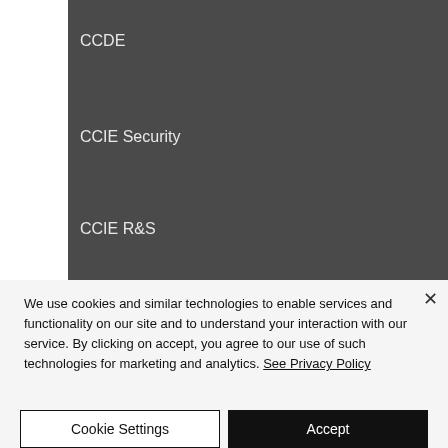CCDE
CCIE Security
CCIE R&S
We use cookies and similar technologies to enable services and functionality on our site and to understand your interaction with our service. By clicking on accept, you agree to our use of such technologies for marketing and analytics. See Privacy Policy